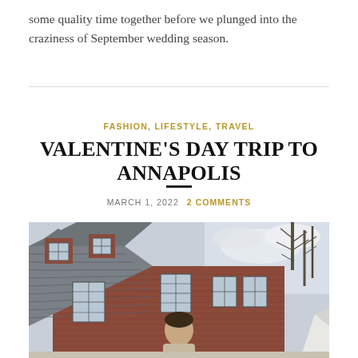some quality time together before we plunged into the craziness of September wedding season.
FASHION, LIFESTYLE, TRAVEL
VALENTINE'S DAY TRIP TO ANNAPOLIS
MARCH 1, 2022   2 COMMENTS
[Figure (photo): Woman standing in front of a large red-brick colonial building with dormer windows and a grey slate roof, outdoors with bare trees and a partly cloudy sky in the background.]